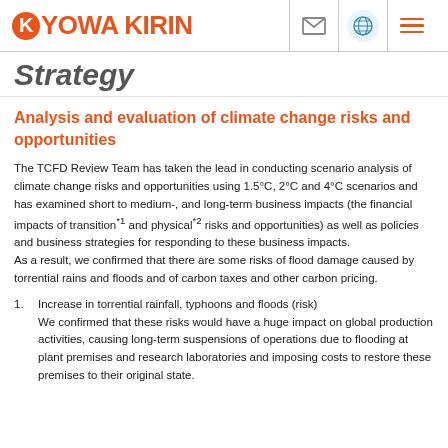KYOWA KIRIN
Strategy
Analysis and evaluation of climate change risks and opportunities
The TCFD Review Team has taken the lead in conducting scenario analysis of climate change risks and opportunities using 1.5°C, 2°C and 4°C scenarios and has examined short to medium-, and long-term business impacts (the financial impacts of transition*1 and physical*2 risks and opportunities) as well as policies and business strategies for responding to these business impacts.
As a result, we confirmed that there are some risks of flood damage caused by torrential rains and floods and of carbon taxes and other carbon pricing.
Increase in torrential rainfall, typhoons and floods (risk)
We confirmed that these risks would have a huge impact on global production activities, causing long-term suspensions of operations due to flooding at plant premises and research laboratories and imposing costs to restore these premises to their original state.